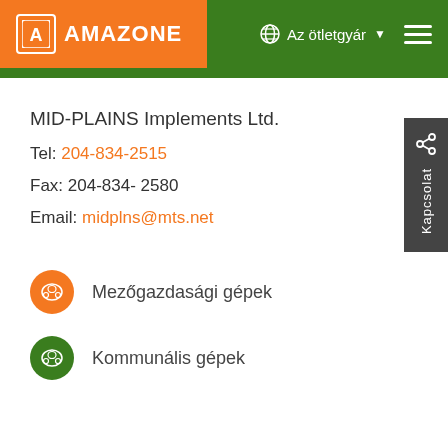AMAZONE | Az ötletgyár
MID-PLAINS Implements Ltd.
Tel: 204-834-2515
Fax: 204-834- 2580
Email: midplns@mts.net
Mezőgazdasági gépek
Kommunális gépek